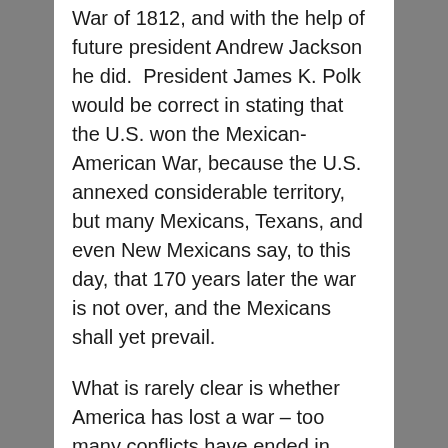War of 1812, and with the help of future president Andrew Jackson he did. President James K. Polk would be correct in stating that the U.S. won the Mexican-American War, because the U.S. annexed considerable territory, but many Mexicans, Texans, and even New Mexicans say, to this day, that 170 years later the war is not over, and the Mexicans shall yet prevail.
What is rarely clear is whether America has lost a war – too many conflicts have ended in ambiguity. What is always clear is that no president wants to be regarded as the first to have lost a war. Just as history is often rewritten by the victors, or the persons who think that they were the victors,